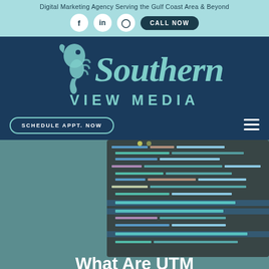Digital Marketing Agency Serving the Gulf Coast Area & Beyond
[Figure (logo): Navigation bar with Facebook, LinkedIn, Instagram icons and CALL NOW button on light teal background]
[Figure (logo): Southern View Media logo with seahorse illustration on dark navy background, teal text, with SCHEDULE APPT. NOW button and hamburger menu]
[Figure (screenshot): Code editor screenshot overlaid on teal hero section background]
What Are UTM Codes and Why Should You Use Them